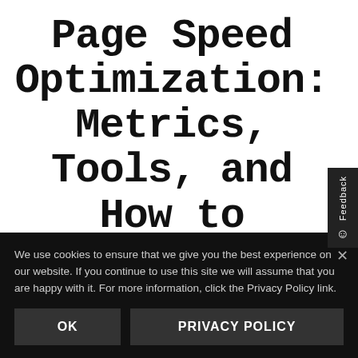Page Speed Optimization: Metrics, Tools, and How to Improve — Best of Whiteboard Friday
We use cookies to ensure that we give you the best experience on our website. If you continue to use this site we will assume that you are happy with it. For more information, click the Privacy Policy link.